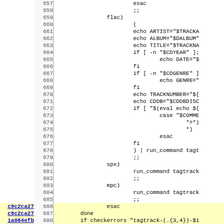[Figure (screenshot): Source code viewer showing shell script lines 657-688 with line numbers, optional git hash identifiers, and code content including flac/spx/mpc case blocks with echo and run_command statements]